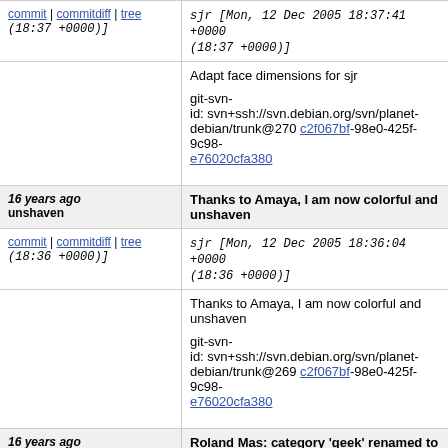commit | commitdiff | tree (18:37 +0000)]   sjr [Mon, 12 Dec 2005 18:37:41 +0000 (18:37 +0000)]
Adapt face dimensions for sjr

git-svn-id: svn+ssh://svn.debian.org/svn/planet-debian/trunk@270 c2f067bf-98e0-425f-9c98-e76020cfa380
16 years ago unshaven   Thanks to Amaya, I am now colorful and unshaven
commit | commitdiff | tree (18:36 +0000)]   sjr [Mon, 12 Dec 2005 18:36:04 +0000 (18:36 +0000)]
Thanks to Amaya, I am now colorful and unshaven

git-svn-id: svn+ssh://svn.debian.org/svn/planet-debian/trunk@269 c2f067bf-98e0-425f-9c98-e76020cfa380
16 years ago 'geek-en'   Roland Mas: category 'geek' renamed to 'geek-en'
commit | commitdiff | tree +0000 (18:25 +0000)]   lolando [Wed, 7 Dec 2005 18:25:37 +0000 (18:25 +0000)]